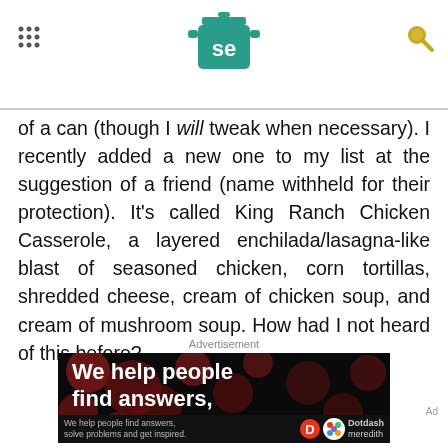[Figure (logo): Serious Eats 'se' logo — teal/green cooking pot icon with 'se' text, hamburger menu dots on left, search icon on right]
of a can (though I will tweak when necessary). I recently added a new one to my list at the suggestion of a friend (name withheld for their protection). It's called King Ranch Chicken Casserole, a layered enchilada/lasagna-like blast of seasoned chicken, corn tortillas, shredded cheese, cream of chicken soup, and cream of mushroom soup. How had I not heard of this before?
Advertisement
[Figure (screenshot): Advertisement banner: dark background with red bokeh circles, white bold text 'We help people find answers,' partially cut off. Bottom bar shows 'We help people find answers, solve problems and get inspired.' with Dotdash Meredith logo.]